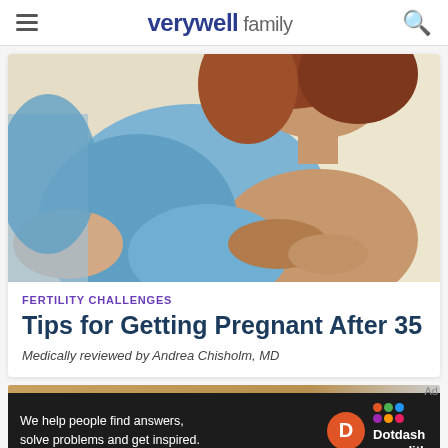verywell family
[Figure (photo): A pregnant woman in a blue hospital gown sitting up in a hospital bed, holding hands with a healthcare provider. The woman has reddish-brown hair.]
FERTILITY CHALLENGES
Tips for Getting Pregnant After 35
Medically reviewed by Andrea Chisholm, MD
We help people find answers, solve problems and get inspired.
[Figure (logo): Dotdash Meredith logo — orange D circle icon and colorful dots grid with text 'Dotdash meredith']